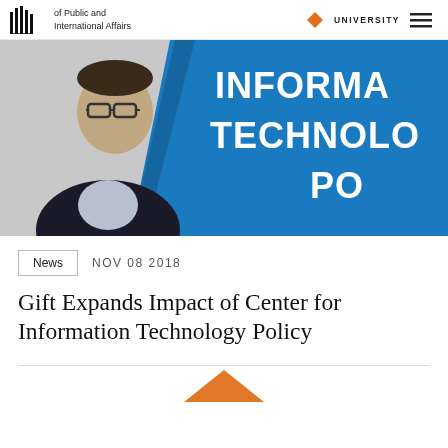of Public and International Affairs | UNIVERSITY
[Figure (photo): Man with glasses on left side, blue background with white text reading 'INFORMATION TECHNOLOGY PO[LICY]' on right side]
News   NOV 08 2018
Gift Expands Impact of Center for Information Technology Policy
[Figure (illustration): Partial orange hexagon shape at bottom center of page]